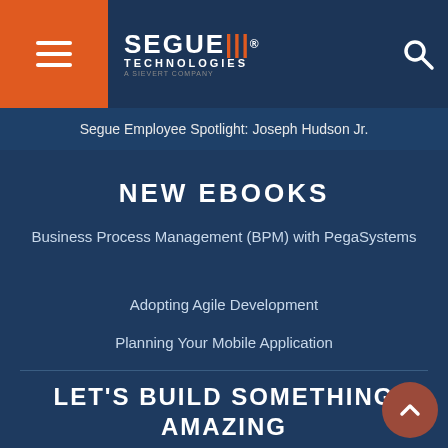[Figure (logo): Segue Technologies logo with hamburger menu icon on orange background and search icon]
Segue Employee Spotlight: Joseph Hudson Jr.
NEW EBOOKS
Business Process Management (BPM) with PegaSystems
Adopting Agile Development
Planning Your Mobile Application
LET'S BUILD SOMETHING AMAZING TOGETHER